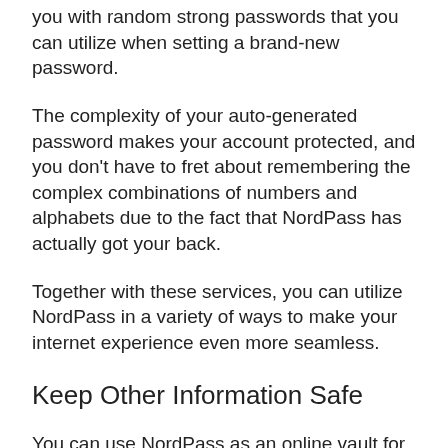you with random strong passwords that you can utilize when setting a brand-new password.
The complexity of your auto-generated password makes your account protected, and you don't have to fret about remembering the complex combinations of numbers and alphabets due to the fact that NordPass has actually got your back.
Together with these services, you can utilize NordPass in a variety of ways to make your internet experience even more seamless.
Keep Other Information Safe
You can use NordPass as an online vault for